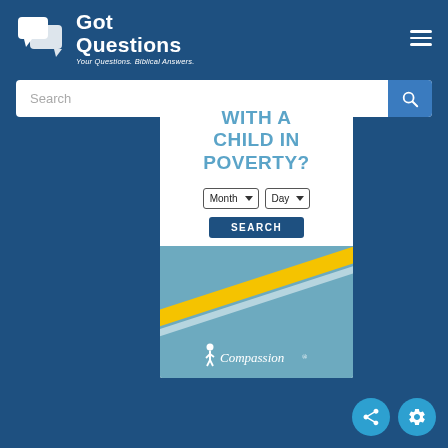[Figure (logo): GotQuestions logo with speech bubble icon, white on dark blue background, subtitle 'Your Questions. Biblical Answers.']
Search
[Figure (infographic): Compassion International advertisement card showing 'WITH A CHILD IN POVERTY?' heading with Month/Day dropdowns, a SEARCH button, diagonal yellow stripe, and Compassion logo at bottom]